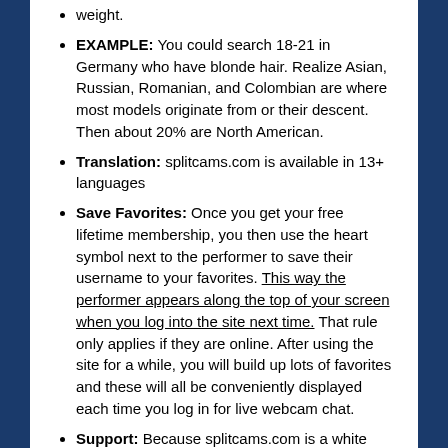weight.
EXAMPLE: You could search 18-21 in Germany who have blonde hair. Realize Asian, Russian, Romanian, and Colombian are where most models originate from or their descent. Then about 20% are North American.
Translation: splitcams.com is available in 13+ languages
Save Favorites: Once you get your free lifetime membership, you then use the heart symbol next to the performer to save their username to your favorites. This way the performer appears along the top of your screen when you log into the site next time. That rule only applies if they are online. After using the site for a while, you will build up lots of favorites and these will all be conveniently displayed each time you log in for live webcam chat.
Support: Because splitcams.com is a white label the site support is actually handled by Streamate which is the underlining company.
Extra Wet Pussy is one of tens of thousands of models on